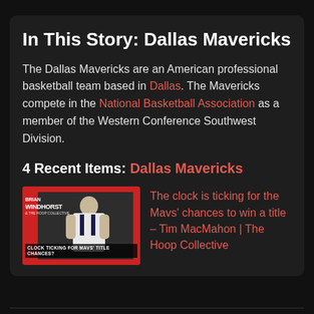In This Story: Dallas Mavericks
The Dallas Mavericks are an American professional basketball team based in Dallas. The Mavericks compete in the National Basketball Association as a member of the Western Conference Southwest Division.
4 Recent Items: Dallas Mavericks
[Figure (photo): Thumbnail image of a basketball player with red accents and text reading BRIAN WINDHORST & THE HOOP COLLECTIVE and CLOCK TICKING FOR MAVS' TITLE CHANCES?]
The clock is ticking for the Mavs' chances to win a title – Tim MacMahon | The Hoop Collective